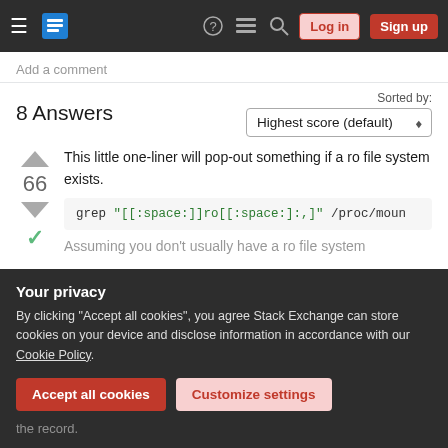Stack Exchange navigation bar with Log in and Sign up buttons
Add a comment
8 Answers
Sorted by: Highest score (default)
This little one-liner will pop-out something if a ro file system exists.
grep "[[:space:]]ro[[:space:],]" /proc/moun
Assuming you don't usually have a ro file system
Your privacy
By clicking "Accept all cookies", you agree Stack Exchange can store cookies on your device and disclose information in accordance with our Cookie Policy.
Accept all cookies
Customize settings
the record.